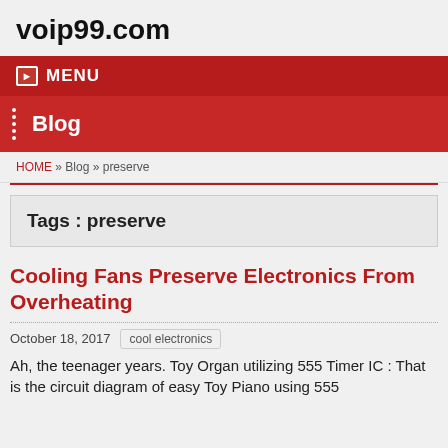voip99.com
MENU
Blog
HOME » Blog » preserve
Tags : preserve
Cooling Fans Preserve Electronics From Overheating
October 18, 2017   cool electronics
Ah, the teenager years. Toy Organ utilizing 555 Timer IC : That is the circuit diagram of easy Toy Piano using 555